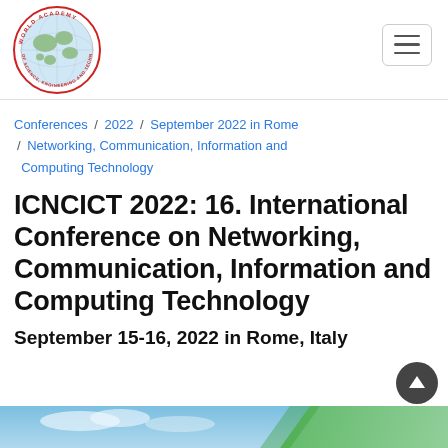[Figure (logo): World Academy of Science, Engineering and Technology circular logo with globe in center]
Conferences / 2022 / September 2022 in Rome / Networking, Communication, Information and Computing Technology
ICNCICT 2022: 16. International Conference on Networking, Communication, Information and Computing Technology
September 15-16, 2022 in Rome, Italy
[Figure (photo): Bottom strip showing a landscape photo with blue sky and green stripe overlay]